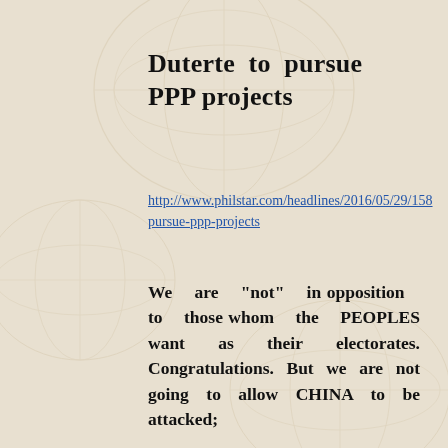Duterte to pursue PPP projects
http://www.philstar.com/headlines/2016/05/29/158.../pursue-ppp-projects
We are "not" in opposition to those whom the PEOPLES want as their electorates. Congratulations. But we are not going to allow CHINA to be attacked;